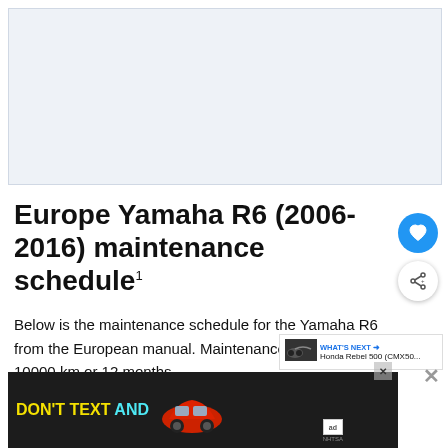[Figure (other): Gray placeholder advertisement banner at the top of the page]
Europe Yamaha R6 (2006-2016) maintenance schedule
Below is the maintenance schedule for the Yamaha R6 from the European manual. Maintenance intervals are 10000 km or 12 months.
[Figure (other): Advertisement banner at bottom: DON'T TEXT AND [Drive] with red car illustration and NHTSA logo]